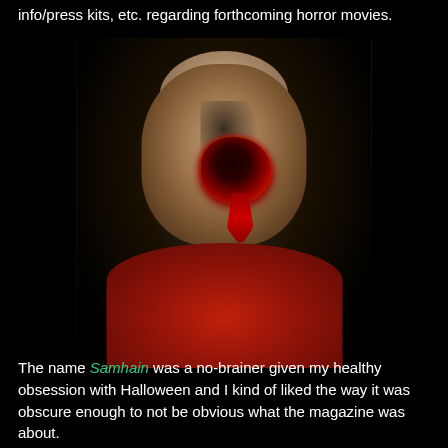info/press kits, etc. regarding forthcoming horror movies.
[Figure (photo): A bald man wearing a red polo shirt with a gruesome horror movie special effects makeup on his eye — a bloody, dark wound with dripping blood covering his left eye area. Dark background, dramatic portrait-style photo.]
The name Samhain was a no-brainer given my healthy obsession with Halloween and I kind of liked the way it was obscure enough to not be obvious what the magazine was about.